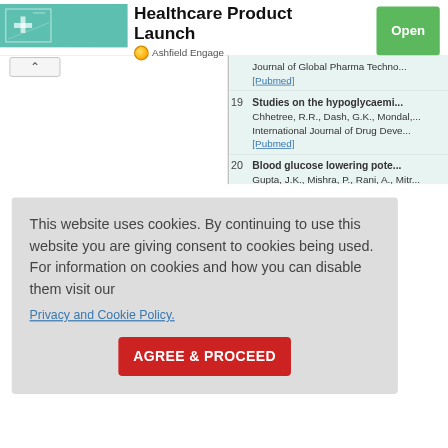[Figure (screenshot): Screenshot of a healthcare product launch webpage with a cookie consent overlay. The page shows a banner for 'Healthcare Product Launch' by Ashfield Engage with an Open button. Below are numbered reference entries (19, 20, and a partial entry) about hypoglycaemia studies and blood glucose research. A cookie consent dialog overlays the lower portion of the page with text about cookie usage and an 'AGREE & PROCEED' button.]
Healthcare Product Launch
Ashfield Engage
19  Studies on the hypoglycaemi...
Chhetree, R.R., Dash, G.K., Mondal...
International Journal of Drug Deve...
[Pubmed]
20  Blood glucose lowering pote...
Gupta, J.K., Mishra, P., Rani, A., Mitr...
Iranian Journal of Pharmacology a...
This website uses cookies. By continuing to use this website you are giving consent to cookies being used. For information on cookies and how you can disable them visit our
Privacy and Cookie Policy.
AGREE & PROCEED